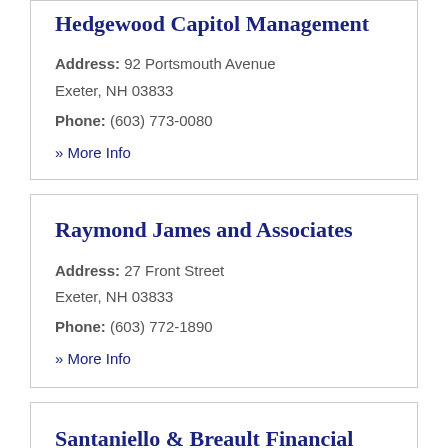Hedgewood Capitol Management
Address: 92 Portsmouth Avenue
Exeter, NH 03833
Phone: (603) 773-0080
» More Info
Raymond James and Associates
Address: 27 Front Street
Exeter, NH 03833
Phone: (603) 772-1890
» More Info
Santaniello & Breault Financial Services